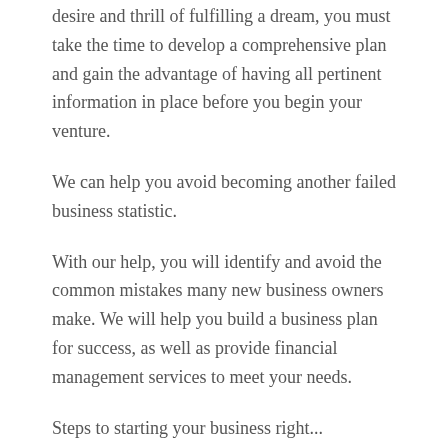desire and thrill of fulfilling a dream, you must take the time to develop a comprehensive plan and gain the advantage of having all pertinent information in place before you begin your venture.
We can help you avoid becoming another failed business statistic.
With our help, you will identify and avoid the common mistakes many new business owners make. We will help you build a business plan for success, as well as provide financial management services to meet your needs.
Steps to starting your business right...
Prepare a business plan and determine your initial